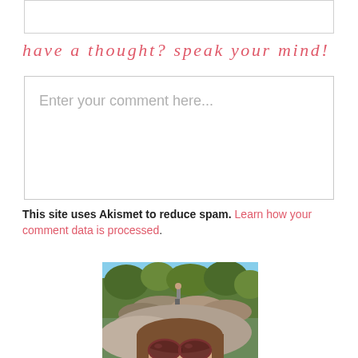have a thought? speak your mind!
Enter your comment here...
This site uses Akismet to reduce spam. Learn how your comment data is processed.
[Figure (photo): Outdoor selfie photo of a woman with brown hair and dark red/burgundy sunglasses in the foreground, with large rocks and trees in the background, and a person standing on rocks in the distance.]